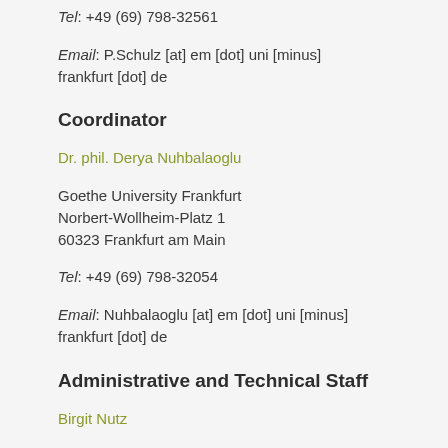Tel: +49 (69) 798-32561
Email: P.Schulz [at] em [dot] uni [minus] frankfurt [dot] de
Coordinator
Dr. phil. Derya Nuhbalaoglu
Goethe University Frankfurt
Norbert-Wollheim-Platz 1
60323 Frankfurt am Main
Tel: +49 (69) 798-32054
Email: Nuhbalaoglu [at] em [dot] uni [minus] frankfurt [dot] de
Administrative and Technical Staff
Birgit Nutz